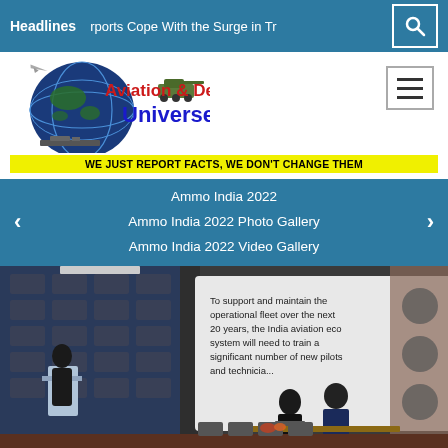Headlines   rports Cope With the Surge in Tr
[Figure (logo): Aviation & Defence Universe logo with globe, aircraft, warship, tank graphics. Tagline: WE JUST REPORT FACTS, WE DON'T CHANGE THEM]
Ammo India 2022
Ammo India 2022 Photo Gallery
Ammo India 2022 Video Gallery
[Figure (photo): Conference room photo showing a presenter at a podium on the left, a projection screen with text about India aviation ecosystem training pilots and technicians, and two seated attendees wearing masks on the right. Background has logos/banners of various organizations.]